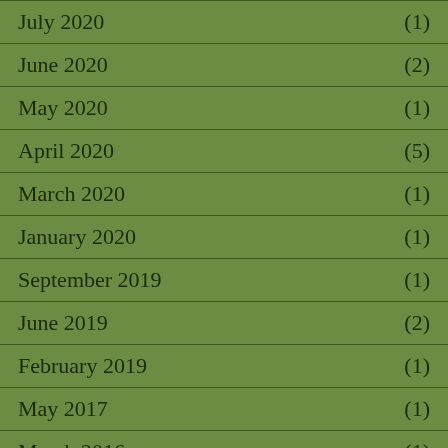July 2020 (1)
June 2020 (2)
May 2020 (1)
April 2020 (5)
March 2020 (1)
January 2020 (1)
September 2019 (1)
June 2019 (2)
February 2019 (1)
May 2017 (1)
March 2016 (1)
February 2016 (3)
September 2015 (5)